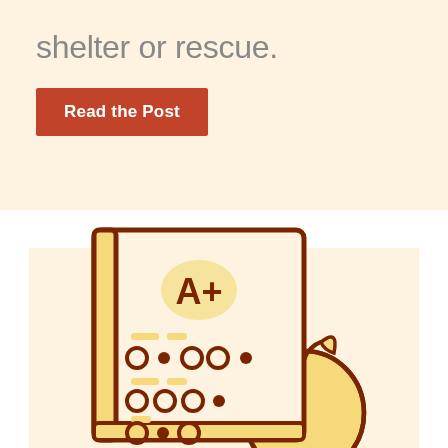shelter or rescue.
Read the Post
[Figure (illustration): Illustration of a school grade report book with A+ grade, circles and dots representing answers, alongside a large apple icon, on a cream/beige background.]